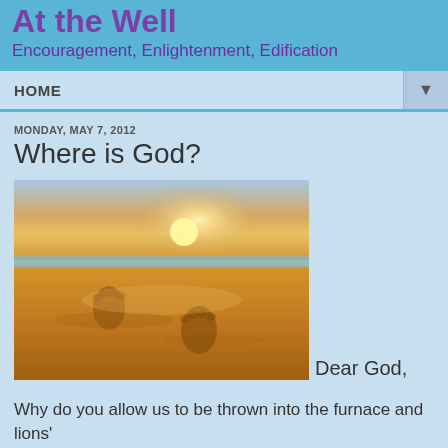At the Well
Encouragement, Enlightenment, Edification
HOME
MONDAY, MAY 7, 2012
Where is God?
[Figure (photo): Footprints in the sand on a beach at sunset with sunlight on the horizon]
Dear God,
Why do you allow us to be thrown into the furnace and lions' den sometimes?